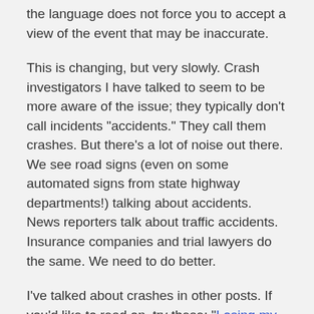the language does not force you to accept a view of the event that may be inaccurate.
This is changing, but very slowly. Crash investigators I have talked to seem to be more aware of the issue; they typically don't call incidents "accidents." They call them crashes. But there's a lot of noise out there. We see road signs (even on some automated signs from state highway departments!) talking about accidents. News reporters talk about traffic accidents. Insurance companies and trial lawyers do the same. We need to do better.
I've talked about crashes in other posts. If you'd like to read on, try these: "Losing my balance…and finding my calling," "GET OFF THE ROAD!," "No. NO!," "It was a crash…it was no accident," "I just crashed! (hypothetically)"